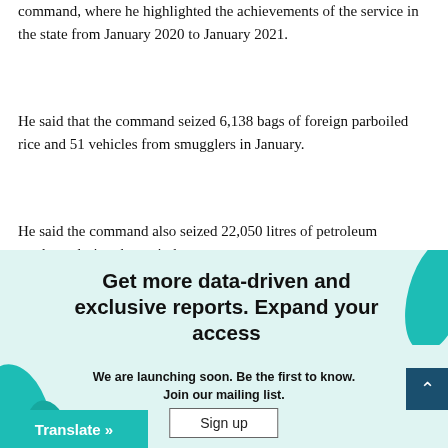command, where he highlighted the achievements of the service in the state from January 2020 to January 2021.
He said that the command seized 6,138 bags of foreign parboiled rice and 51 vehicles from smugglers in January.
He said the command also seized 22,050 litres of petroleum products during the period.
[Figure (infographic): Promotional banner with teal background and decorative teal leaf/shape graphics. Text reads: Get more data-driven and exclusive reports. Expand your access. We are launching soon. Be the first to know. Join our mailing list. Sign up button. Translate button on bottom left. Scroll-to-top button on right.]